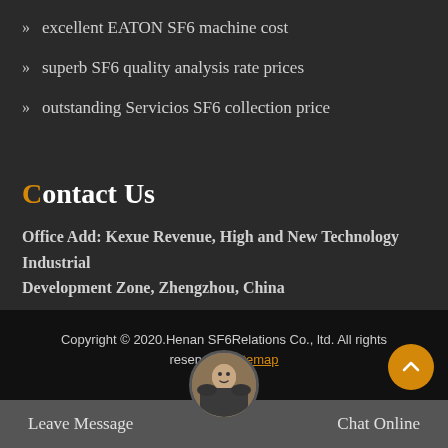excellent EATON SF6 machine cost
superb SF6 quality analysis rate prices
outstanding Servicios SF6 collection price
Contact Us
Office Add: Kexue Revenue, High and New Technology Industrial Development Zone, Zhengzhou, China
Copyright © 2020.Henan SF6Relations Co., ltd. All rights reserved. Sitemap
Leave Message
Chat Online